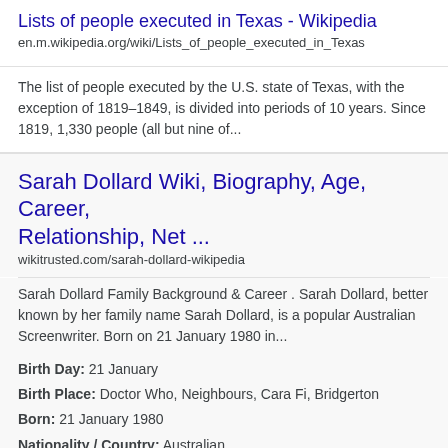Lists of people executed in Texas - Wikipedia
en.m.wikipedia.org/wiki/Lists_of_people_executed_in_Texas
The list of people executed by the U.S. state of Texas, with the exception of 1819–1849, is divided into periods of 10 years. Since 1819, 1,330 people (all but nine of...
Sarah Dollard Wiki, Biography, Age, Career, Relationship, Net ...
wikitrusted.com/sarah-dollard-wikipedia
Sarah Dollard Family Background & Career . Sarah Dollard, better known by her family name Sarah Dollard, is a popular Australian Screenwriter. Born on 21 January 1980 in...
Birth Day: 21 January
Birth Place: Doctor Who, Neighbours, Cara Fi, Bridgerton
Born: 21 January 1980
Nationality / Country: Australian